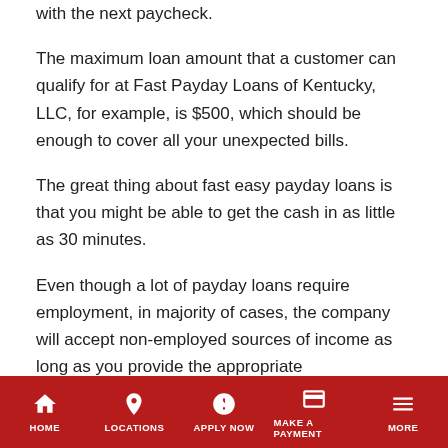with the next paycheck.
The maximum loan amount that a customer can qualify for at Fast Payday Loans of Kentucky, LLC, for example, is $500, which should be enough to cover all your unexpected bills.
The great thing about fast easy payday loans is that you might be able to get the cash in as little as 30 minutes.
Even though a lot of payday loans require employment, in majority of cases, the company will accept non-employed sources of income as long as you provide the appropriate documentation. Such sources of income include pension, unemployment benefits, alimony, and others.
How Can You Get Fast Easy Payday Loans?
HOME | LOCATIONS | APPLY NOW | MAKE A PAYMENT | MORE